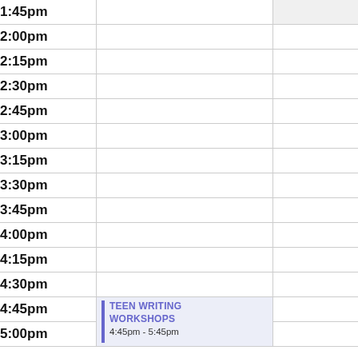| Time |  |  |
| --- | --- | --- |
| 1:45pm |  |  |
| 2:00pm |  |  |
| 2:15pm |  |  |
| 2:30pm |  |  |
| 2:45pm |  |  |
| 3:00pm |  |  |
| 3:15pm |  |  |
| 3:30pm |  |  |
| 3:45pm |  |  |
| 4:00pm |  |  |
| 4:15pm |  |  |
| 4:30pm |  |  |
| 4:45pm | TEEN WRITING WORKSHOPS 4:45pm - 5:45pm |  |
| 5:00pm |  |  |